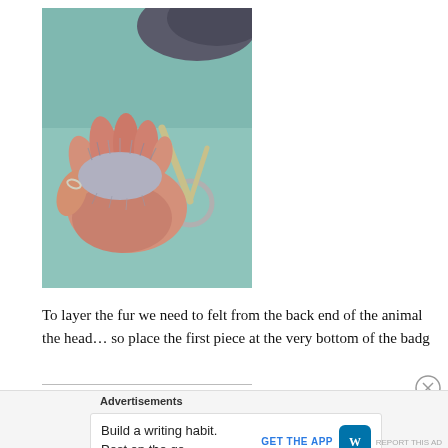[Figure (photo): A hand holding a small tuft of gray fur, with scissors visible on a teal/blue-green surface in the background.]
To layer the fur we need to felt from the back end of the animal the head… so place the first piece at the very bottom of the badg
Advertisements
Build a writing habit. Post on the go.
GET THE APP